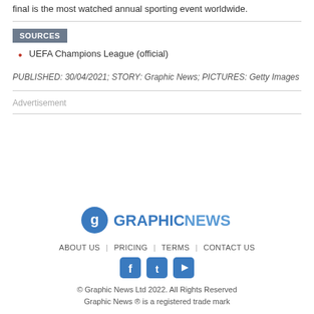final is the most watched annual sporting event worldwide.
SOURCES
UEFA Champions League (official)
PUBLISHED: 30/04/2021; STORY: Graphic News; PICTURES: Getty Images
Advertisement
[Figure (logo): Graphic News logo with icon and text]
ABOUT US | PRICING | TERMS | CONTACT US
© Graphic News Ltd 2022. All Rights Reserved
Graphic News ® is a registered trade mark